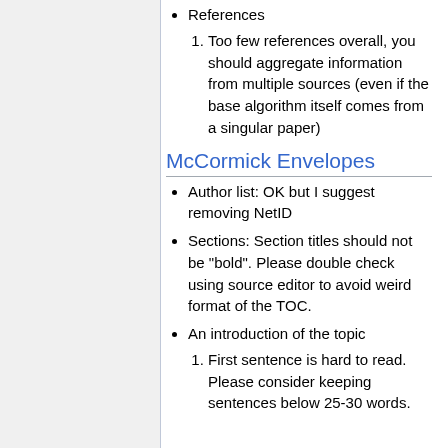References
Too few references overall, you should aggregate information from multiple sources (even if the base algorithm itself comes from a singular paper)
McCormick Envelopes
Author list: OK but I suggest removing NetID
Sections: Section titles should not be "bold". Please double check using source editor to avoid weird format of the TOC.
An introduction of the topic
First sentence is hard to read. Please consider keeping sentences below 25-30 words.